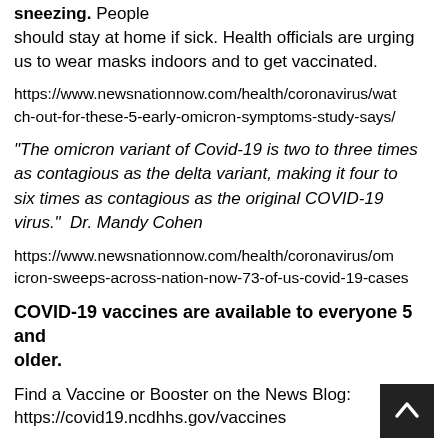sneezing. People should stay at home if sick. Health officials are urging us to wear masks indoors and to get vaccinated.
https://www.newsnationnow.com/health/coronavirus/watch-out-for-these-5-early-omicron-symptoms-study-says/
“The omicron variant of Covid-19 is two to three times as contagious as the delta variant, making it four to six times as contagious as the original COVID-19 virus.”  Dr. Mandy Cohen
https://www.newsnationnow.com/health/coronavirus/omicron-sweeps-across-nation-now-73-of-us-covid-19-cases
COVID-19 vaccines are available to everyone 5 and older.
Find a Vaccine or Booster on the News Blog:
https://covid19.ncdhhs.gov/vaccines